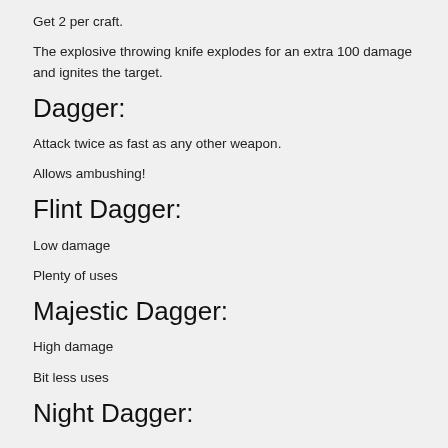Get 2 per craft.
The explosive throwing knife explodes for an extra 100 damage and ignites the target.
Dagger:
Attack twice as fast as any other weapon.
Allows ambushing!
Flint Dagger:
Low damage
Plenty of uses
Majestic Dagger:
High damage
Bit less uses
Night Dagger: